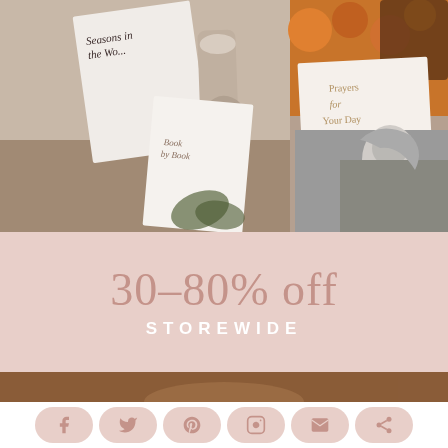[Figure (photo): Photo collage showing books including 'Seasons in the Word', 'Prayers for Your Day', 'Book by Book', along with a tumbler, plants, and a black-and-white photo of a woman]
30–80% off
STOREWIDE
[Figure (photo): Bottom portion of a photo showing someone in a brown fuzzy/fleece garment]
[Figure (infographic): Social sharing buttons: Facebook, Twitter, Pinterest, Instagram, Email, Share]